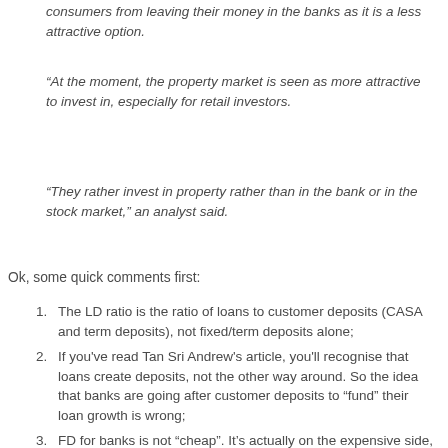consumers from leaving their money in the banks as it is a less attractive option.
“At the moment, the property market is seen as more attractive to invest in, especially for retail investors.
“They rather invest in property rather than in the bank or in the stock market,” an analyst said.
Ok, some quick comments first:
The LD ratio is the ratio of loans to customer deposits (CASA and term deposits), not fixed/term deposits alone;
If you've read Tan Sri Andrew's article, you'll recognise that loans create deposits, not the other way around. So the idea that banks are going after customer deposits to “fund” their loan growth is wrong;
FD for banks is not “cheap”. It’s actually on the expensive side, as both CASA and money market rates tend to be lower. The real advantage of term deposits is that it is “locked in” – banks don’t have to meet